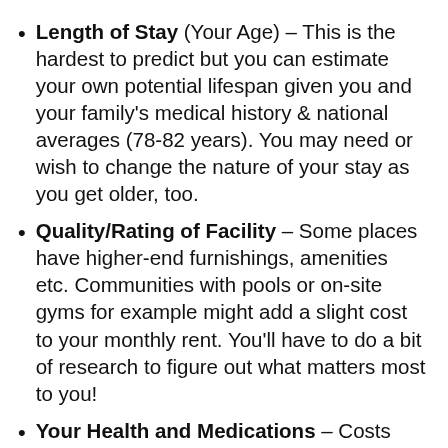Length of Stay (Your Age) – This is the hardest to predict but you can estimate your own potential lifespan given you and your family's medical history & national averages (78-82 years). You may need or wish to change the nature of your stay as you get older, too.
Quality/Rating of Facility – Some places have higher-end furnishings, amenities etc. Communities with pools or on-site gyms for example might add a slight cost to your monthly rent. You'll have to do a bit of research to figure out what matters most to you!
Your Health and Medications – Costs vary depending on how much...